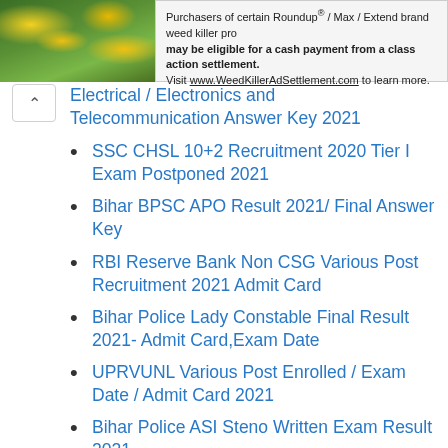[Figure (photo): Green foliage with yellow flowers, nature/plant photo]
Purchasers of certain Roundup / Max / Extend brand weed killer pro may be eligible for a cash payment from a class action settlement. Visit www.WeedKillerAdSettlement.com to learn more.
Electrical / Electronics and Telecommunication Answer Key 2021
SSC CHSL 10+2 Recruitment 2020 Tier I Exam Postponed 2021
Bihar BPSC APO Result 2021/ Final Answer Key
RBI Reserve Bank Non CSG Various Post Recruitment 2021 Admit Card
Bihar Police Lady Constable Final Result 2021- Admit Card,Exam Date
UPRVUNL Various Post Enrolled / Exam Date / Admit Card 2021
Bihar Police ASI Steno Written Exam Result 2021
Rajasthan District Court Stenographer Admit Card 2021 Full Details